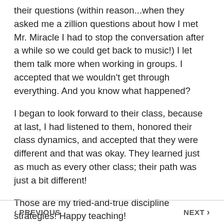their questions (within reason...when they asked me a zillion questions about how I met Mr. Miracle I had to stop the conversation after a while so we could get back to music!) I let them talk more when working in groups. I accepted that we wouldn't get through everything. And you know what happened?
I began to look forward to their class, because at last, I had listened to them, honored their class dynamics, and accepted that they were different and that was okay. They learned just as much as every other class; their path was just a bit different!
Those are my tried-and-true discipline strategies! Happy teaching!
PREVIOUS   NEXT